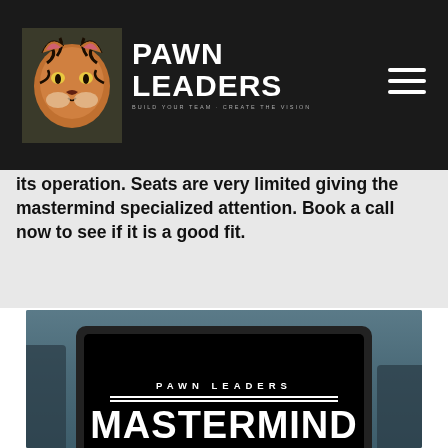Pawn Leaders
event and I also visit your store to consult on its operation. Seats are very limited giving the mastermind specialized attention. Book a call now to see if it is a good fit.
[Figure (screenshot): Monitor displaying Pawn Leaders Mastermind logo: black screen with PAWN LEADERS at top, horizontal lines, large MASTERMIND text, and ELITE - PAWNBROKER - MENTORSHIP - COMMUNITY at bottom]